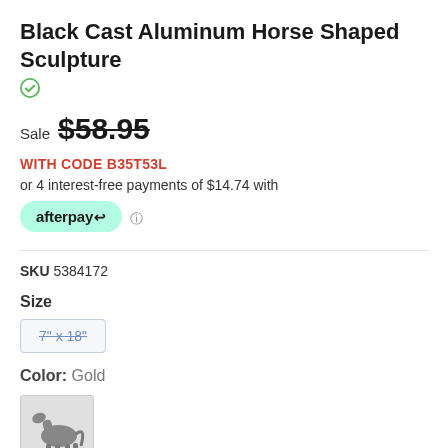Black Cast Aluminum Horse Shaped Sculpture
Sale $58.95
WITH CODE B35T53L
or 4 interest-free payments of $14.74 with
afterpay
SKU 5384172
Size
7" x 18"
Color: Gold
[Figure (photo): Small thumbnail of a black horse sculpture]